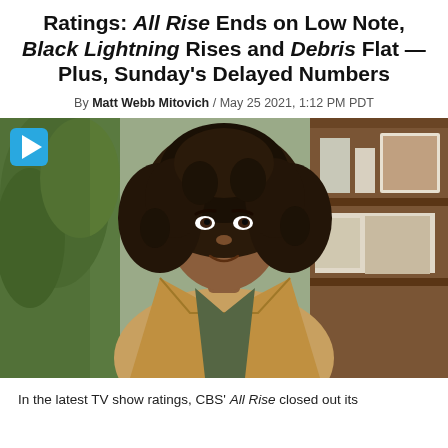Ratings: All Rise Ends on Low Note, Black Lightning Rises and Debris Flat — Plus, Sunday's Delayed Numbers
By Matt Webb Mitovich / May 25 2021, 1:12 PM PDT
[Figure (photo): A Black woman with voluminous curly hair wearing a tan blazer over a dark olive top, standing in front of a bookshelf with a plant behind her. A blue play button icon is overlaid in the top-left corner.]
In the latest TV show ratings, CBS' All Rise closed out its